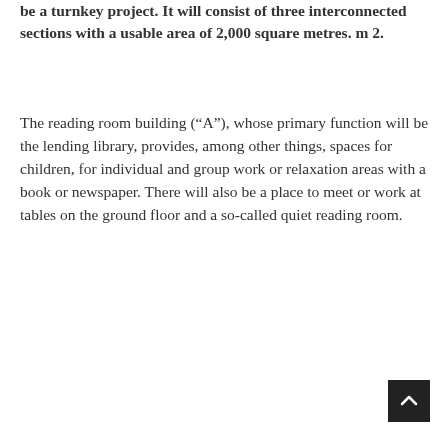be a turnkey project. It will consist of three interconnected sections with a usable area of 2,000 square metres. m 2.
The reading room building (“A”), whose primary function will be the lending library, provides, among other things, spaces for children, for individual and group work or relaxation areas with a book or newspaper. There will also be a place to meet or work at tables on the ground floor and a so-called quiet reading room.